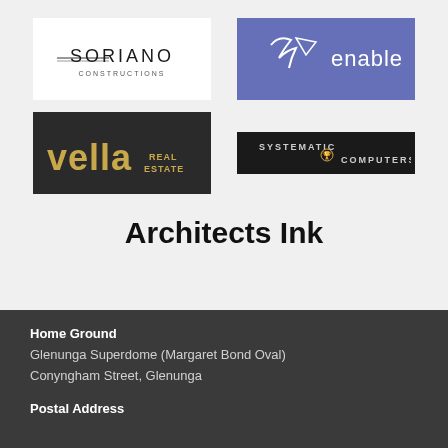[Figure (logo): Soriano Constructions logo — white background with 'SORIANO CONSTRUCTIONS' text and decorative lines]
[Figure (logo): enable logo — blue/purple background with star/arrow icon and 'enable' text in white]
[Figure (logo): vella REAL ESTATE logo — dark background with 'vella' in gold large text and 'REAL ESTATE' in smaller gold text]
[Figure (logo): SYSTEMATIC COMPUTERS logo — dark background with 'SYSTEMATIC' and 'COMPUTERS' text and trophy icon]
Architects Ink
Home Ground
Glenunga Superdome (Margaret Bond Oval)
Conyngham Street, Glenunga
Postal Address